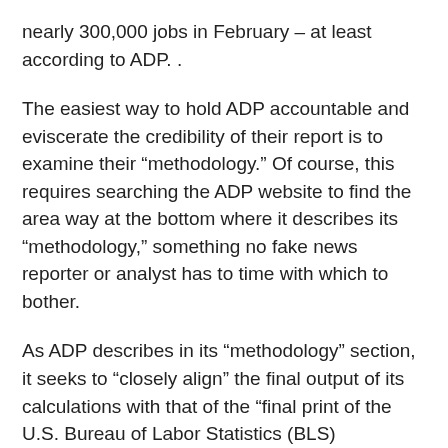nearly 300,000 jobs in February – at least according to ADP. .
The easiest way to hold ADP accountable and eviscerate the credibility of their report is to examine their “methodology.” Of course, this requires searching the ADP website to find the area way at the bottom where it describes its “methodology,” something no fake news reporter or analyst has to time with which to bother.
As ADP describes in its “methodology” section, it seeks to “closely align” the final output of its calculations with that of the “final print of the U.S. Bureau of Labor Statistics (BLS) numbers.” Thus, ADP’s “job creation” report is really nothing more than a regurgitation of the fraudulent employment